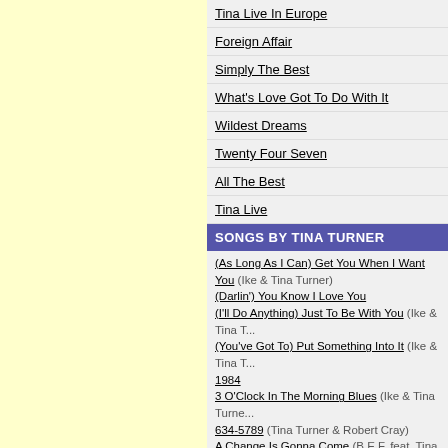Tina Live In Europe
Foreign Affair
Simply The Best
What's Love Got To Do With It
Wildest Dreams
Twenty Four Seven
All The Best
Tina Live
SONGS BY TINA TURNER
(As Long As I Can) Get You When I Want You (Ike & Tina Turner)
(Darlin') You Know I Love You
(I'll Do Anything) Just To Be With You (Ike & Tina Turner)
(You've Got To) Put Something Into It (Ike & Tina Turner)
1984
3 O'Clock In The Morning Blues (Ike & Tina Turner)
634-5789 (Tina Turner & Robert Cray)
A Change Is Gonna Come (B.E.F. feat. Tina Turner)
A Change Is Gonna Come
A Fool For A Fool (Ike & Tina Turner)
A Fool In Love (Ike & Tina Turner)
A Fool In Love
A Fool Too Long (Ike & Tina Turner)
A Letter From Tina (Ike & Tina Turner)
A Love Like Yours (Don't Come Knocking Every Day) (Ike & Tina Turner)
A Man Is A Man Is A Man (Ike & Tina Turner)
A Woman In A Man's World
Absolutely Nothing's Changed
Acid Queen
Addicted To Love (Live)
Afterglow